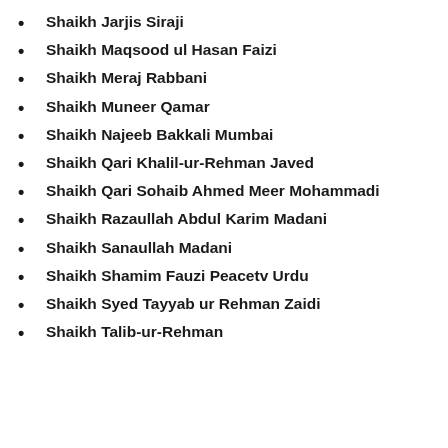Shaikh Jarjis Siraji
Shaikh Maqsood ul Hasan Faizi
Shaikh Meraj Rabbani
Shaikh Muneer Qamar
Shaikh Najeeb Bakkali Mumbai
Shaikh Qari Khalil-ur-Rehman Javed
Shaikh Qari Sohaib Ahmed Meer Mohammadi
Shaikh Razaullah Abdul Karim Madani
Shaikh Sanaullah Madani
Shaikh Shamim Fauzi Peacetv Urdu
Shaikh Syed Tayyab ur Rehman Zaidi
Shaikh Talib-ur-Rehman